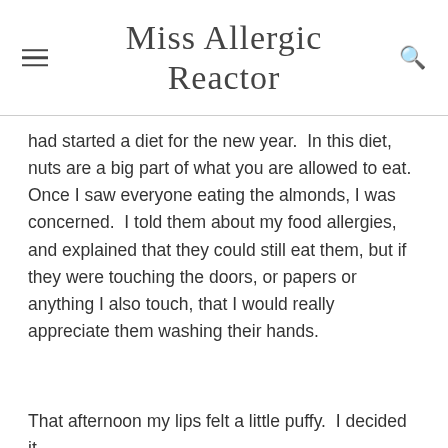Miss Allergic Reactor
had started a diet for the new year.  In this diet, nuts are a big part of what you are allowed to eat.  Once I saw everyone eating the almonds, I was concerned.  I told them about my food allergies, and explained that they could still eat them, but if they were touching the doors, or papers or anything I also touch, that I would really appreciate them washing their hands.
That afternoon my lips felt a little puffy.  I decided it